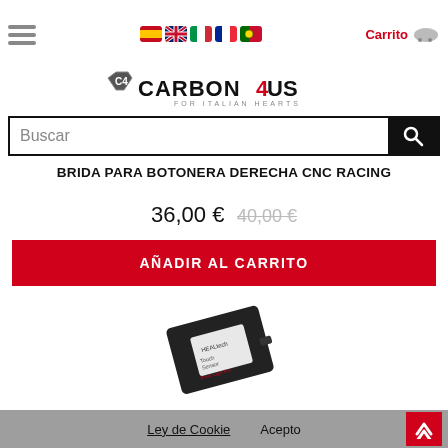CARBON4US - FOR ITALIAN HEARTS | Carrito
Buscar
BRIDA PARA BOTONERA DERECHA CNC RACING
36,00 € 40,00 €
AÑADIR AL CARRITO
[Figure (photo): Small black electronic device labeled 'HEALtech Touch Sensor Brake Light Pro' on a white background]
Ley de Cookie   Acepto